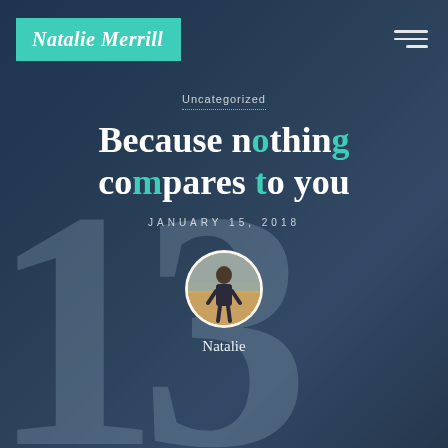Natalie Merrill
Uncategorized
Because nothing compares to you
JANUARY 15, 2018
[Figure (photo): Circular author avatar photo of Natalie standing outdoors]
Natalie